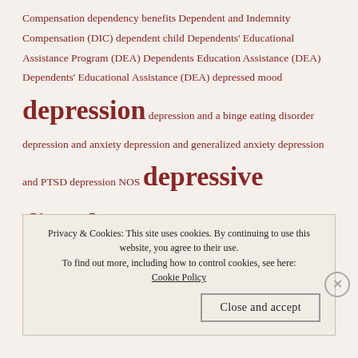Compensation dependency benefits Dependent and Indemnity Compensation (DIC) dependent child Dependents' Educational Assistance Program (DEA) Dependents Education Assistance (DEA) Dependents' Educational Assistance (DEA) depressed mood depression depression and a binge eating disorder depression and anxiety depression and generalized anxiety depression and PTSD depression NOS depressive disorder depressive disorder (dysthymia) Depressive disorder not otherwise specified (NOS) depressive neurosis Depuytren's contracture of the right hand dequervain's Derangement of the Left Knee with Limitation of Flexion dermatitis dermatitis of the
Privacy & Cookies: This site uses cookies. By continuing to use this website, you agree to their use. To find out more, including how to control cookies, see here: Cookie Policy
Close and accept